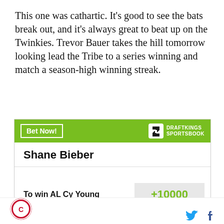This one was cathartic. It's good to see the bats break out, and it's always great to beat up on the Twinkies. Trevor Bauer takes the hill tomorrow looking lead the Tribe to a series winning and match a season-high winning streak.
| Shane Bieber |  |
| --- | --- |
| To win AL Cy Young | +10000 |
| Most regular season | +6500 |